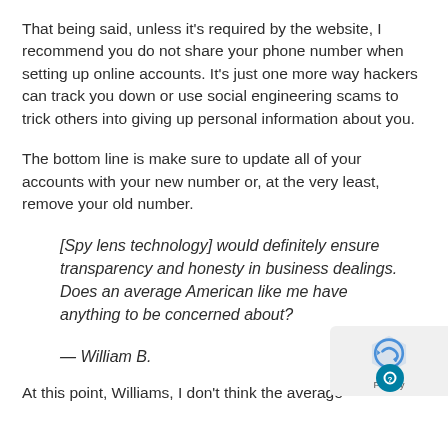That being said, unless it's required by the website, I recommend you do not share your phone number when setting up online accounts. It's just one more way hackers can track you down or use social engineering scams to trick others into giving up personal information about you.
The bottom line is make sure to update all of your accounts with your new number or, at the very least, remove your old number.
[Spy lens technology] would definitely ensure transparency and honesty in business dealings. Does an average American like me have anything to be concerned about?
— William B.
At this point, Williams, I don't think the average...